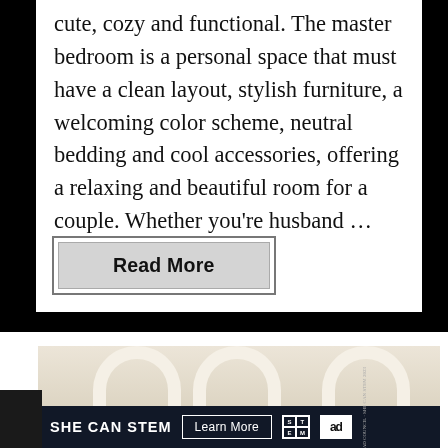cute, cozy and functional. The master bedroom is a personal space that must have a clean layout, stylish furniture, a welcoming color scheme, neutral bedding and cool accessories, offering a relaxing and beautiful room for a couple. Whether you're husband …
Read More
[Figure (screenshot): Advertisement banner showing a room with white arched doorway at the top, and a dark navy ad bar at the bottom with text 'SHE CAN STEM', a 'Learn More' button, STEM logo, Ad Council logo, and music streaming service logo.]